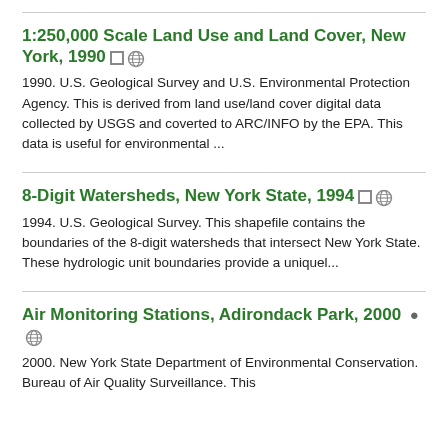1:250,000 Scale Land Use and Land Cover, New York, 1990
1990. U.S. Geological Survey and U.S. Environmental Protection Agency. This is derived from land use/land cover digital data collected by USGS and coverted to ARC/INFO by the EPA. This data is useful for environmental ...
8-Digit Watersheds, New York State, 1994
1994. U.S. Geological Survey. This shapefile contains the boundaries of the 8-digit watersheds that intersect New York State. These hydrologic unit boundaries provide a uniquel...
Air Monitoring Stations, Adirondack Park, 2000
2000. New York State Department of Environmental Conservation. Bureau of Air Quality Surveillance. This